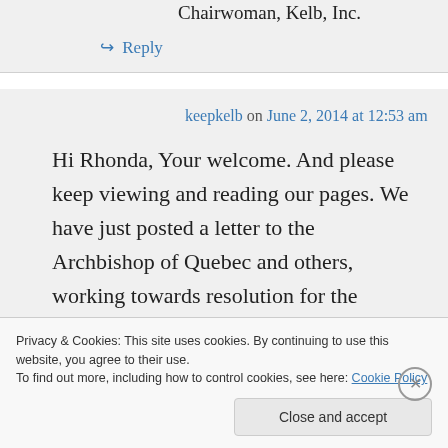Chairwoman, Kelb, Inc.
↪ Reply
keepkelb on June 2, 2014 at 12:53 am
Hi Rhonda, Your welcome. And please keep viewing and reading our pages. We have just posted a letter to the Archbishop of Quebec and others, working towards resolution for the DuPlessis Orphans and
Privacy & Cookies: This site uses cookies. By continuing to use this website, you agree to their use.
To find out more, including how to control cookies, see here: Cookie Policy
Close and accept